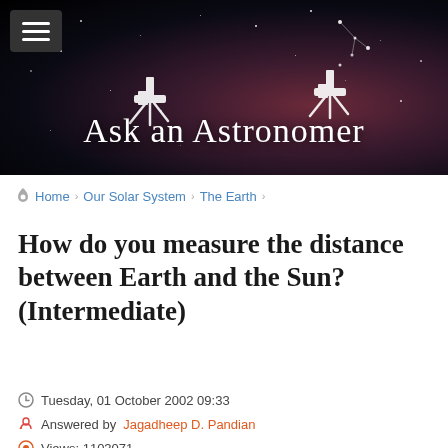[Figure (photo): Ask an Astronomer website banner with dark space background showing stars and nebula, white telescope icons, constellation dots, and site title text 'Ask an Astronomer' in white serif font. Hamburger menu button in top-left corner.]
Home > Our Solar System > The Earth >
How do you measure the distance between Earth and the Sun? (Intermediate)
Tuesday, 01 October 2002 09:33
Answered by Jagadheep D. Pandian
Views: 1103071